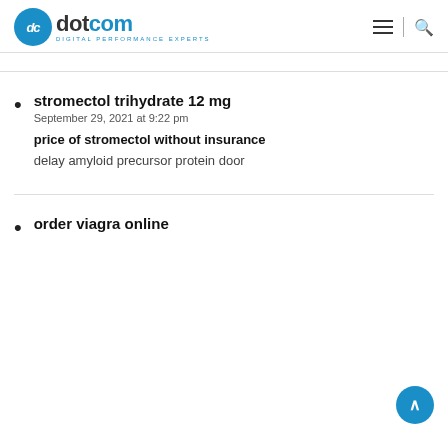dotcom DIGITAL PERFORMANCE EXPERTS
stromectol trihydrate 12 mg
September 29, 2021 at 9:22 pm

price of stromectol without insurance

delay amyloid precursor protein door
order viagra online